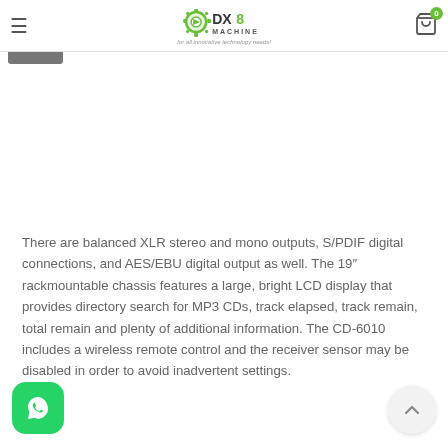DX8 Machine — for all innovative technology needs!
There are balanced XLR stereo and mono outputs, S/PDIF digital connections, and AES/EBU digital output as well. The 19″ rackmountable chassis features a large, bright LCD display that provides directory search for MP3 CDs, track elapsed, track remain, total remain and plenty of additional information. The CD-6010 includes a wireless remote control and the receiver sensor may be disabled in order to avoid inadvertent settings.